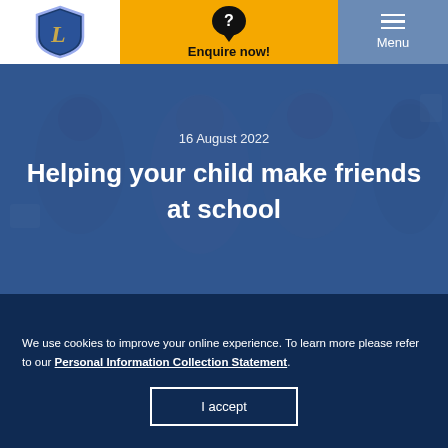[Figure (logo): School shield logo with letter L in blue and gold]
Enquire now!
Menu
[Figure (photo): Children in school uniforms smiling and playing, overlaid with blue tint]
16 August 2022
Helping your child make friends at school
We use cookies to improve your online experience. To learn more please refer to our Personal Information Collection Statement.
I accept